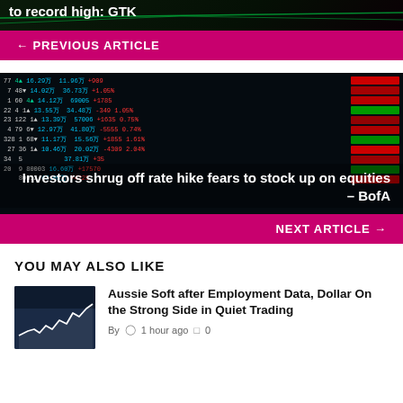[Figure (photo): Partial top image with text 'to record high: GTK' visible on dark background]
← PREVIOUS ARTICLE
[Figure (photo): Stock market ticker board displaying Japanese yen trading numbers in green and red on dark background]
Investors shrug off rate hike fears to stock up on equities – BofA
NEXT ARTICLE →
YOU MAY ALSO LIKE
[Figure (photo): Thumbnail showing a financial chart with white line graph on dark blue background]
Aussie Soft after Employment Data, Dollar On the Strong Side in Quiet Trading
By  🕐 1 hour ago  🗨 0